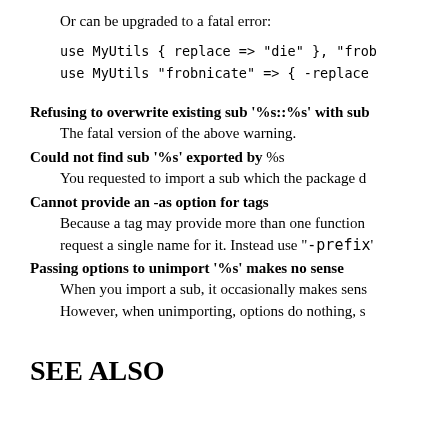Or can be upgraded to a fatal error:
use MyUtils { replace => "die" }, "frob
use MyUtils "frobnicate" => { -replace
Refusing to overwrite existing sub '%s::%s' with sub
The fatal version of the above warning.
Could not find sub '%s' exported by %s
You requested to import a sub which the package d
Cannot provide an -as option for tags
Because a tag may provide more than one function
request a single name for it. Instead use "-prefix'
Passing options to unimport '%s' makes no sense
When you import a sub, it occasionally makes sens
However, when unimporting, options do nothing, s
SEE ALSO